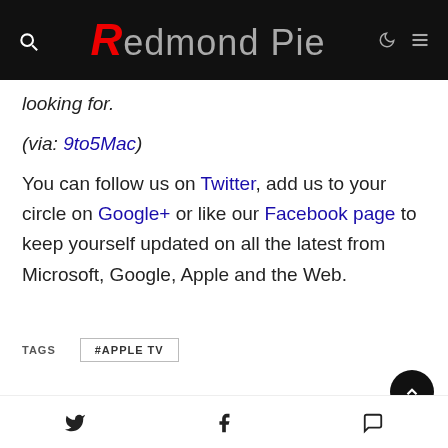Redmond Pie
looking for.
(via: 9to5Mac)
You can follow us on Twitter, add us to your circle on Google+ or like our Facebook page to keep yourself updated on all the latest from Microsoft, Google, Apple and the Web.
TAGS   #APPLE TV
SHARE   TWEET